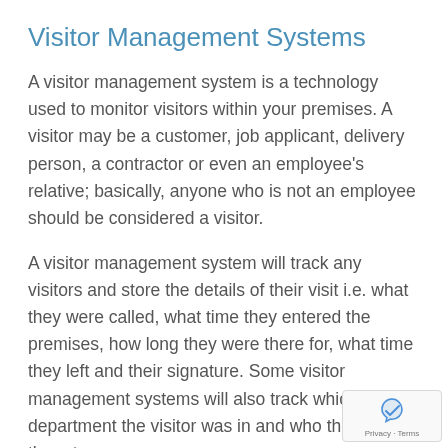Visitor Management Systems
A visitor management system is a technology used to monitor visitors within your premises. A visitor may be a customer, job applicant, delivery person, a contractor or even an employee's relative; basically, anyone who is not an employee should be considered a visitor.
A visitor management system will track any visitors and store the details of their visit i.e. what they were called, what time they entered the premises, how long they were there for, what time they left and their signature. Some visitor management systems will also track which department the visitor was in and who they were there to see